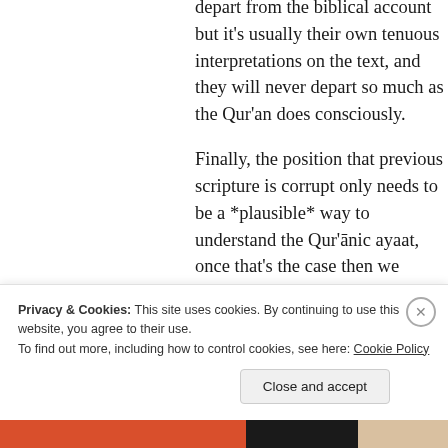depart from the biblical account but it's usually their own tenuous interpretations on the text, and they will never depart so much as the Qur'an does consciously.
Finally, the position that previous scripture is corrupt only needs to be a *plausible* way to understand the Qur'ānic ayaat, once that's the case then we follow
Privacy & Cookies: This site uses cookies. By continuing to use this website, you agree to their use.
To find out more, including how to control cookies, see here: Cookie Policy